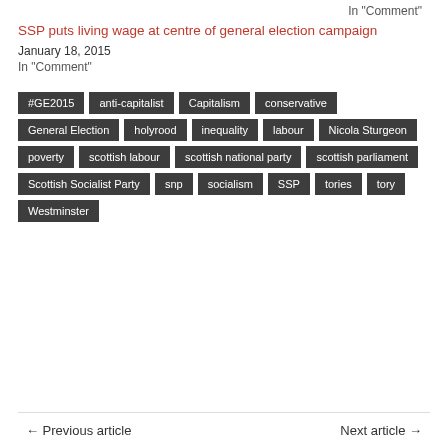In "Comment"
SSP puts living wage at centre of general election campaign
January 18, 2015
In "Comment"
#GE2015
anti-capitalist
Capitalism
conservative
General Election
holyrood
inequality
labour
Nicola Sturgeon
poverty
scottish labour
scottish national party
scottish parliament
Scottish Socialist Party
snp
socialism
SSP
tories
tory
Westminster
← Previous article    Next article →